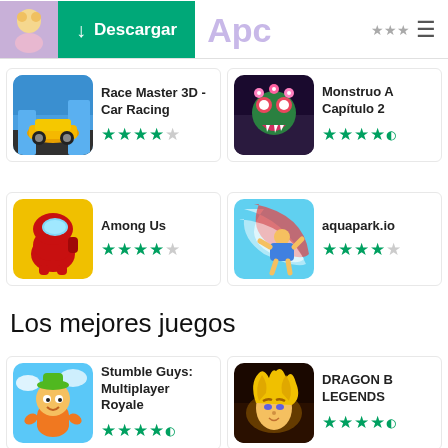Descargar | Apc
[Figure (screenshot): Race Master 3D - Car Racing app icon, yellow sports car on blue background]
Race Master 3D - Car Racing ★★★★☆
[Figure (screenshot): Monstruo A Capítulo 2 app icon, monster character on dark background]
Monstruo A Capítulo 2 ★★★★½
[Figure (screenshot): Among Us app icon, red crewmate on yellow background]
Among Us ★★★★½
[Figure (screenshot): aquapark.io app icon, character on water slide]
aquapark.io ★★★★½
Los mejores juegos
[Figure (screenshot): Stumble Guys: Multiplayer Royale app icon, cartoon character with green hat]
Stumble Guys: Multiplayer Royale ★★★★½
[Figure (screenshot): DRAGON BALL LEGENDS app icon, Super Saiyan character]
DRAGON BALL LEGENDS ★★★★½